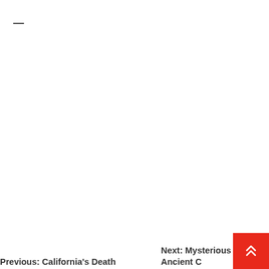—
Previous: California's Death
Next: Mysterious Ancient C